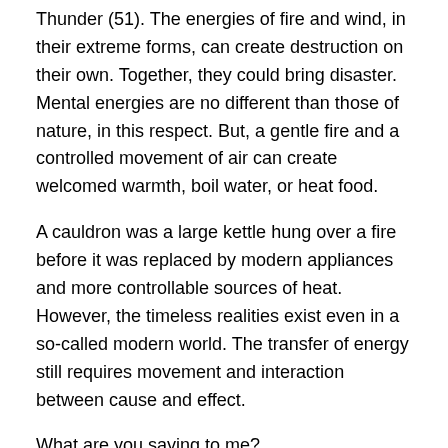Thunder (51). The energies of fire and wind, in their extreme forms, can create destruction on their own. Together, they could bring disaster. Mental energies are no different than those of nature, in this respect. But, a gentle fire and a controlled movement of air can create welcomed warmth, boil water, or heat food.
A cauldron was a large kettle hung over a fire before it was replaced by modern appliances and more controllable sources of heat. However, the timeless realities exist even in a so-called modern world. The transfer of energy still requires movement and interaction between cause and effect.
What are you saying to me?
Who is what?